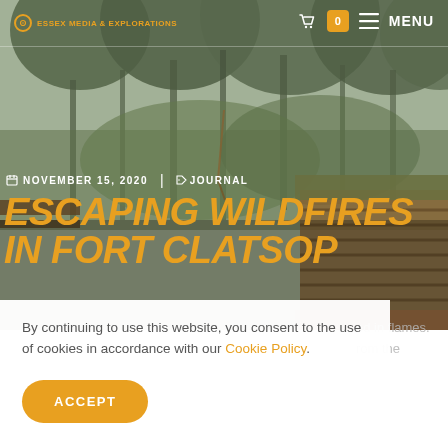ESSEX MEDIA & EXPLORATIONS
[Figure (photo): Forest landscape with tall pine trees in fog, and a log cabin structure visible at bottom right. Hero image for a travel/journal blog post.]
NOVEMBER 15, 2020  |  JOURNAL
ESCAPING WILDFIRES IN FORT CLATSOP
By continuing to use this website, you consent to the use of cookies in accordance with our Cookie Policy.
ACCEPT